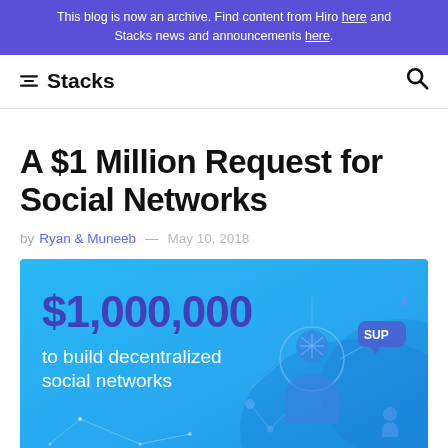This blog is now an archive. Find content from Hiro here and Stacks news and announcements here.
✶ Stacks
A $1 Million Request for Social Networks
by Ryan & Muneeb — May 10, 2018
[Figure (illustration): Hero banner with blue gradient background showing '$1,000,000 to build decentralized social networks' and a stylized social network person icon with connections.]